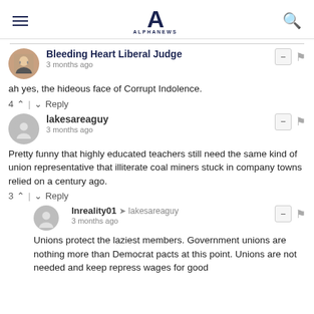ALPHANEWS
Bleeding Heart Liberal Judge
3 months ago
ah yes, the hideous face of Corrupt Indolence.
4 ^ | ∨ Reply
lakesareaguy
3 months ago
Pretty funny that highly educated teachers still need the same kind of union representative that illiterate coal miners stuck in company towns relied on a century ago.
3 ^ | ∨ Reply
Inreality01 → lakesareaguy
3 months ago
Unions protect the laziest members. Government unions are nothing more than Democrat pacts at this point. Unions are not needed and keep repress wages for good